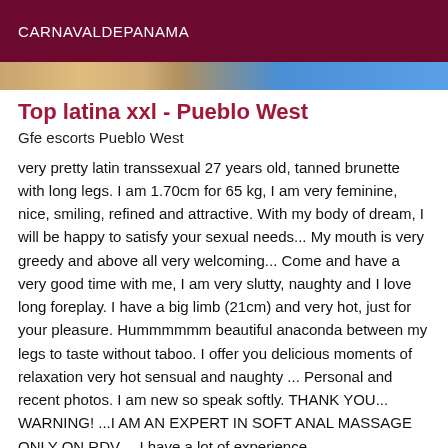CARNAVALDEPANAMA
[Figure (photo): Partial photo strip showing a person and blue background]
Top latina xxl - Pueblo West
Gfe escorts Pueblo West
very pretty latin transsexual 27 years old, tanned brunette with long legs. I am 1.70cm for 65 kg, I am very feminine, nice, smiling, refined and attractive. With my body of dream, I will be happy to satisfy your sexual needs... My mouth is very greedy and above all very welcoming... Come and have a very good time with me, I am very slutty, naughty and I love long foreplay. I have a big limb (21cm) and very hot, just for your pleasure. Hummmmmm beautiful anaconda between my legs to taste without taboo. I offer you delicious moments of relaxation very hot sensual and naughty ... Personal and recent photos. I am new so speak softly. THANK YOU... WARNING! ...I AM AN EXPERT IN SOFT ANAL MASSAGE ONLY ON RDV.... I have a lot of experience,